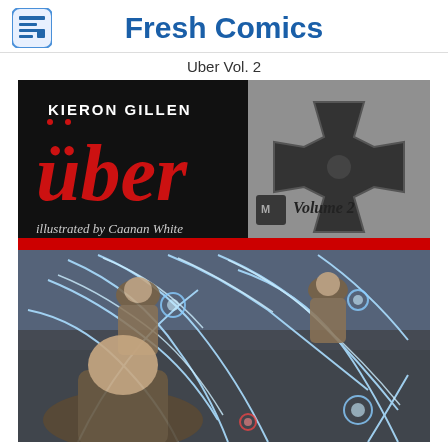Fresh Comics
Uber Vol. 2
[Figure (illustration): Comic book cover for 'Über Vol. 2' by Kieron Gillen, illustrated by Caanan White. The cover shows the title 'über' in large red gothic/blackletter font on a black background at the top, with 'KIERON GILLEN' in white text above. An Iron Cross symbol is displayed in the upper right. Below the title reads 'illustrated by Caanan White'. The lower portion depicts dynamic action artwork of figures surrounded by glowing white lightning/energy streaks against a dark gray background.]